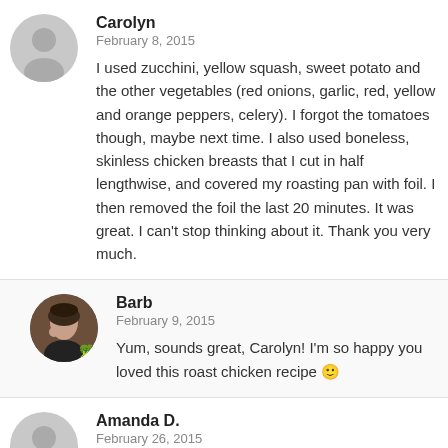Carolyn
February 8, 2015
I used zucchini, yellow squash, sweet potato and the other vegetables (red onions, garlic, red, yellow and orange peppers, celery). I forgot the tomatoes though, maybe next time. I also used boneless, skinless chicken breasts that I cut in half lengthwise, and covered my roasting pan with foil. I then removed the foil the last 20 minutes. It was great. I can't stop thinking about it. Thank you very much.
Barb
February 9, 2015
Yum, sounds great, Carolyn! I'm so happy you loved this roast chicken recipe 🙂
Amanda D.
February 26, 2015
Thanks so much for this recipe!! I live at home with my parents (24 years old) and have never really prepped and cooked a nice meal..I never got into learning how for some reason. This recipe was so easy and fun to make. I'll be eating this all weekend for my long 12 hour days at work Friday-Monday!! Feeling so proud of